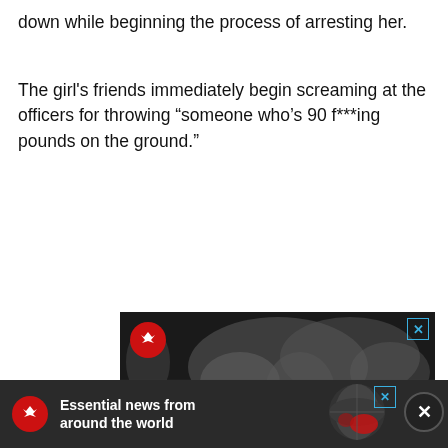down while beginning the process of arresting her.
The girl's friends immediately begin screaming at the officers for throwing “someone who’s 90 f***ing pounds on the ground.”
[Figure (screenshot): Advertisement banner for The Independent newspaper showing a dark world map background with the newspaper logo (red circle with white eagle) and the text 'Essential news' in white serif font, with a blue X close button in the top right corner.]
[Figure (screenshot): Bottom sticky advertisement banner for The Independent newspaper on dark background, showing red circle logo with white eagle, bold white text 'Essential news from around the world', a globe map image on the right, a blue X close button, and a dark circular X dismiss button on the far right.]